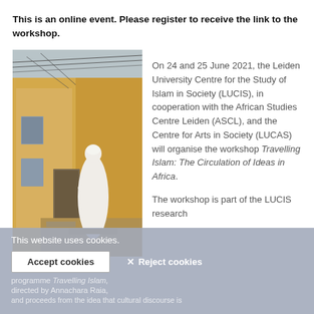This is an online event. Please register to receive the link to the workshop.
[Figure (photo): A man in a white robe and white cap viewed from behind, standing in a narrow alleyway between yellowish-ochre buildings with overhead wires.]
On 24 and 25 June 2021, the Leiden University Centre for the Study of Islam in Society (LUCIS), in cooperation with the African Studies Centre Leiden (ASCL), and the Centre for Arts in Society (LUCAS) will organise the workshop Travelling Islam: The Circulation of Ideas in Africa.

The workshop is part of the LUCIS research programme Travelling Islam, directed by Annachara Raia, and Proceeds from the idea that cultural discourse is
This website uses cookies.